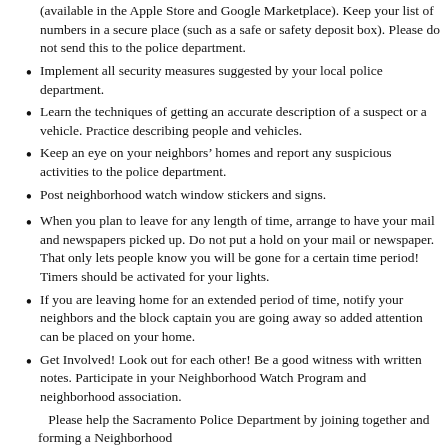(available in the Apple Store and Google Marketplace). Keep your list of numbers in a secure place (such as a safe or safety deposit box). Please do not send this to the police department.
Implement all security measures suggested by your local police department.
Learn the techniques of getting an accurate description of a suspect or a vehicle. Practice describing people and vehicles.
Keep an eye on your neighbors’ homes and report any suspicious activities to the police department.
Post neighborhood watch window stickers and signs.
When you plan to leave for any length of time, arrange to have your mail and newspapers picked up. Do not put a hold on your mail or newspaper.  That only lets people know you will be gone for a certain time period! Timers should be activated for your lights.
If you are leaving home for an extended period of time, notify your neighbors and the block captain you are going away so added attention can be placed on your home.
Get Involved! Look out for each other! Be a good witness with written notes. Participate in your Neighborhood Watch Program and neighborhood association.
Please help the Sacramento Police Department by joining together and forming a Neighborhood